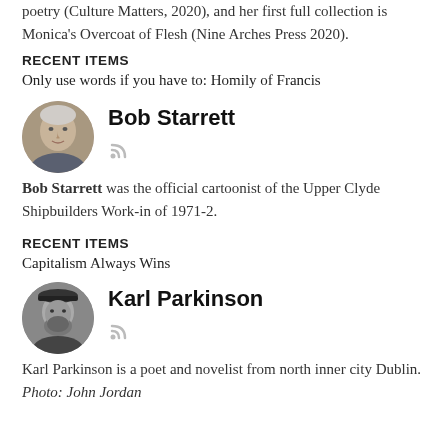poetry (Culture Matters, 2020), and her first full collection is Monica's Overcoat of Flesh (Nine Arches Press 2020).
RECENT ITEMS
Only use words if you have to: Homily of Francis
Bob Starrett
[Figure (photo): Circular profile photo of Bob Starrett, an older man]
Bob Starrett was the official cartoonist of the Upper Clyde Shipbuilders Work-in of 1971-2.
RECENT ITEMS
Capitalism Always Wins
Karl Parkinson
[Figure (photo): Circular black and white profile photo of Karl Parkinson]
Karl Parkinson is a poet and novelist from north inner city Dublin. Photo: John Jordan